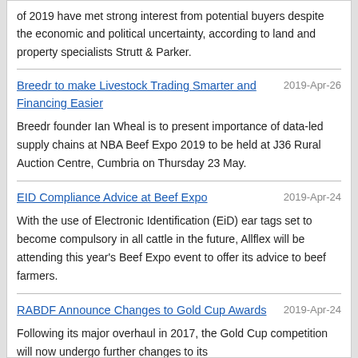of 2019 have met strong interest from potential buyers despite the economic and political uncertainty, according to land and property specialists Strutt & Parker.
Breedr to make Livestock Trading Smarter and Financing Easier | 2019-Apr-26 | Breedr founder Ian Wheal is to present importance of data-led supply chains at NBA Beef Expo 2019 to be held at J36 Rural Auction Centre, Cumbria on Thursday 23 May.
EID Compliance Advice at Beef Expo | 2019-Apr-24 | With the use of Electronic Identification (EiD) ear tags set to become compulsory in all cattle in the future, Allflex will be attending this year's Beef Expo event to offer its advice to beef farmers.
RABDF Announce Changes to Gold Cup Awards | 2019-Apr-24 | Following its major overhaul in 2017, the Gold Cup competition will now undergo further changes to its